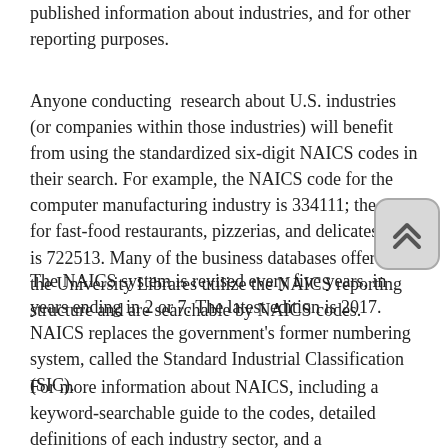published information about industries, and for other reporting purposes.
Anyone conducting research about U.S. industries (or companies within those industries) will benefit from using the standardized six-digit NAICS codes in their search. For example, the NAICS code for the computer manufacturing industry is 334111; the code for fast-food restaurants, pizzerias, and delicatessens is 722513. Many of the business databases offered by the University Libraries utilize the NAICS reporting structure and are searchable by NAICS codes.
The NAICS system is revised every five years, in years ending in 2 or 7. The latest edition is 2017. NAICS replaces the government's former numbering system, called the Standard Industrial Classification (SIC).
For more information about NAICS, including a keyword-searchable guide to the codes, detailed definitions of each industry sector, and a downloadable manual of the